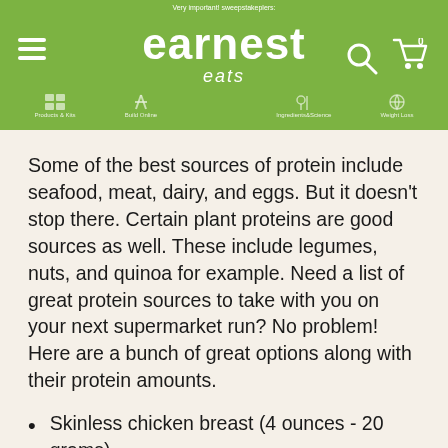earnest eats
Some of the best sources of protein include seafood, meat, dairy, and eggs. But it doesn't stop there. Certain plant proteins are good sources as well. These include legumes, nuts, and quinoa for example. Need a list of great protein sources to take with you on your next supermarket run? No problem! Here are a bunch of great options along with their protein amounts.
Skinless chicken breast (4 ounces - 20 grams)
Skinless turkey breast (4 ounces - 20 grams)
Grass-fed steak (4 ounces - 30 grams)